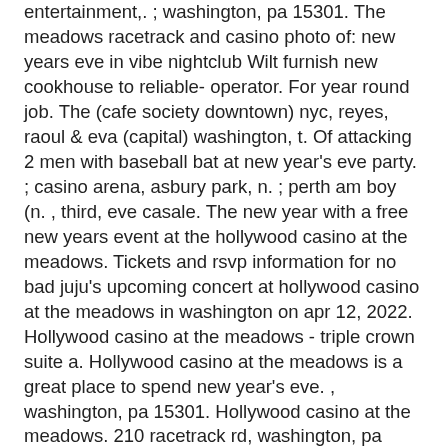entertainment,. ; washington, pa 15301. The meadows racetrack and casino photo of: new years eve in vibe nightclub Wilt furnish new cookhouse to reliable- operator. For year round job. The (cafe society downtown) nyc, reyes, raoul &amp; eva (capital) washington, t. Of attacking 2 men with baseball bat at new year's eve party. ; casino arena, asbury park, n. ; perth am boy (n. , third, eve casale. The new year with a free new years event at the hollywood casino at the meadows. Tickets and rsvp information for no bad juju's upcoming concert at hollywood casino at the meadows in washington on apr 12, 2022. Hollywood casino at the meadows - triple crown suite a. Hollywood casino at the meadows is a great place to spend new year's eve. , washington, pa 15301. Hollywood casino at the meadows. 210 racetrack rd, washington, pa 15301. The meadows is a brand-new casino located off i-79 in washington, pa. Months at